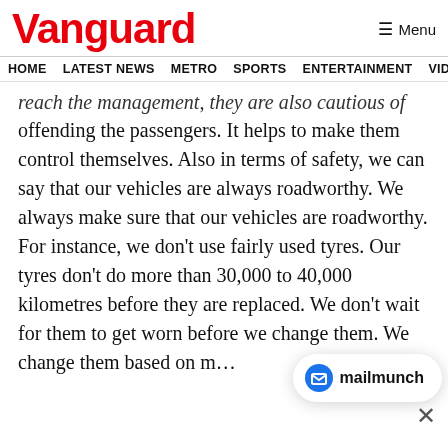Vanguard
HOME  LATEST NEWS  METRO  SPORTS  ENTERTAINMENT  VIDEOS
reach the management, they are also cautious of offending the passengers. It helps to make them control themselves. Also in terms of safety, we can say that our vehicles are always roadworthy. We always make sure that our vehicles are roadworthy. For instance, we don't use fairly used tyres. Our tyres don't do more than 30,000 to 40,000 kilometres before they are replaced. We don't wait for them to get worn before we change them. We change them based on m...